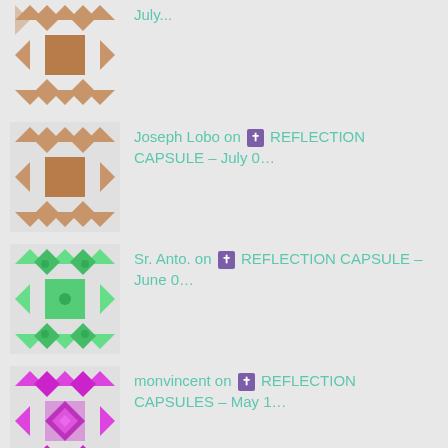July...
Joseph Lobo on ✝ REFLECTION CAPSULE – July 0…
Sr. Anto. on ✝ REFLECTION CAPSULE – June 0…
monvincent on ✝ REFLECTION CAPSULES – May 1…
Search …
ARCHIVES
August 2022
July 2022